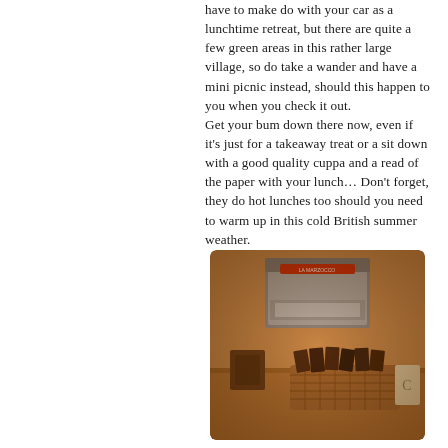have to make do with your car as a lunchtime retreat, but there are quite a few green areas in this rather large village, so do take a wander and have a mini picnic instead, should this happen to you when you check it out.
Get your bum down there now, even if it's just for a takeaway treat or a sit down with a good quality cuppa and a read of the paper with your lunch… Don't forget, they do hot lunches too should you need to warm up in this cold British summer weather.
[Figure (photo): A warm-toned photograph of a coffee shop counter showing a La Marzocco espresso machine in the background and a wicker basket filled with chocolate bars and snacks in the foreground, with a rustic wooden counter surface.]